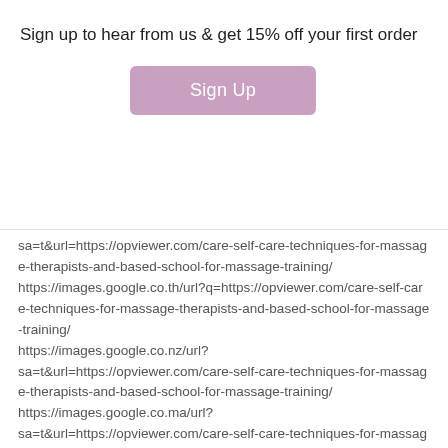Sign up to hear from us & get 15% off your first order
[Figure (screenshot): Sign Up button with mauve/purple background color]
sa=t&url=https://opviewer.com/care-self-care-techniques-for-massage-therapists-and-based-school-for-massage-training/ https://images.google.co.th/url?q=https://opviewer.com/care-self-care-techniques-for-massage-therapists-and-based-school-for-massage-training/ https://images.google.co.nz/url?sa=t&url=https://opviewer.com/care-self-care-techniques-for-massage-therapists-and-based-school-for-massage-training/ https://images.google.co.ma/url?sa=t&url=https://opviewer.com/care-self-care-techniques-for-massage-therapists-and-based-school-for-massage-training/ https://images.google.co.ls/url?sa=t&url=https://opviewer.com/care-self-care-techniques-for-massage-therapists-and-based-school-for-massage-training/ https://images.google.co.kr/url?sa=t&url=https://opviewer.com/care-self-care-techniques-for-massage-therapists-and-based-school-for-massage-training/